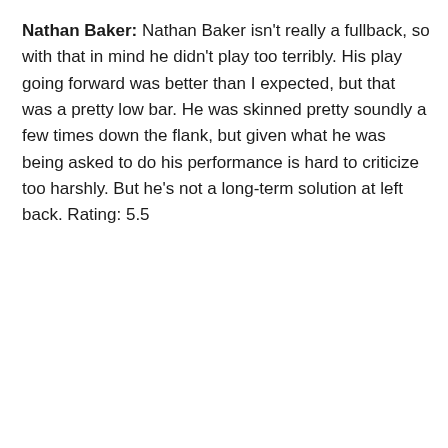Nathan Baker: Nathan Baker isn't really a fullback, so with that in mind he didn't play too terribly. His play going forward was better than I expected, but that was a pretty low bar. He was skinned pretty soundly a few times down the flank, but given what he was being asked to do his performance is hard to criticize too harshly. But he's not a long-term solution at left back. Rating: 5.5
[Figure (other): Advertisement box with AD label and a video player below showing a young man in a denim jacket standing in front of blue glass tiles in what appears to be a locker room or commercial setting, with 'Unfold your world' caption text visible at the bottom]